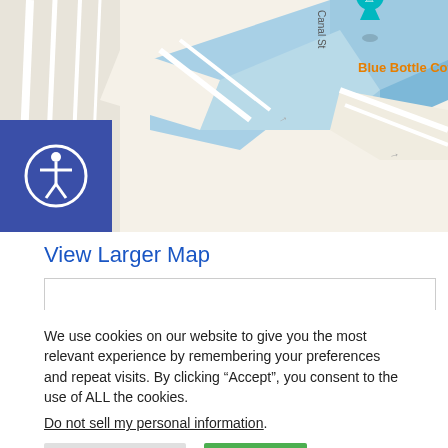[Figure (map): Google Maps screenshot showing Blue Bottle Coffee location near a canal/waterway, with street labels and map pins including an orange coffee cup pin and a teal castle/chess piece pin. Canal St label visible. Accessibility button overlay in top-left corner.]
View Larger Map
[Figure (other): Empty white box with light gray border, representing an embedded content area below the map link.]
We use cookies on our website to give you the most relevant experience by remembering your preferences and repeat visits. By clicking “Accept”, you consent to the use of ALL the cookies.
Do not sell my personal information.